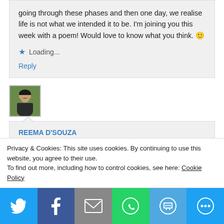going through these phases and then one day, we realise life is not what we intended it to be. I'm joining you this week with a poem! Would love to know what you think. 🙂
★ Loading...
Reply
[Figure (photo): Avatar photo of a woman outdoors with greenery background]
REEMA D'SOUZA
February 29, 2020 at 3:16 pm
Privacy & Cookies: This site uses cookies. By continuing to use this website, you agree to their use.
To find out more, including how to control cookies, see here: Cookie Policy